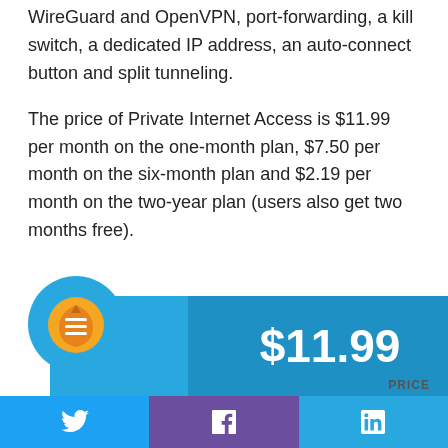WireGuard and OpenVPN, port-forwarding, a kill switch, a dedicated IP address, an auto-connect button and split tunneling.
The price of Private Internet Access is $11.99 per month on the one-month plan, $7.50 per month on the six-month plan and $2.19 per month on the two-year plan (users also get two months free).
[Figure (infographic): Private Internet Access logo in a blue circle next to a blue bar showing the price $11.99]
PRICE
Twitter | Facebook | LinkedIn social share icons